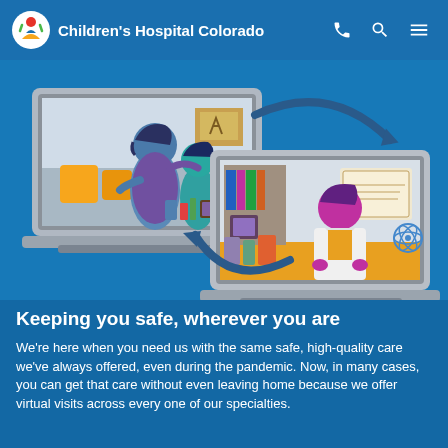Children's Hospital Colorado
[Figure (illustration): Illustration of two laptops connected by circular arrows showing a virtual visit: one laptop shows a parent and child at home, the other shows a doctor in a white coat at a desk with bookshelves and certificates]
Keeping you safe, wherever you are
We're here when you need us with the same safe, high-quality care we've always offered, even during the pandemic. Now, in many cases, you can get that care without even leaving home because we offer virtual visits across every one of our specialties.